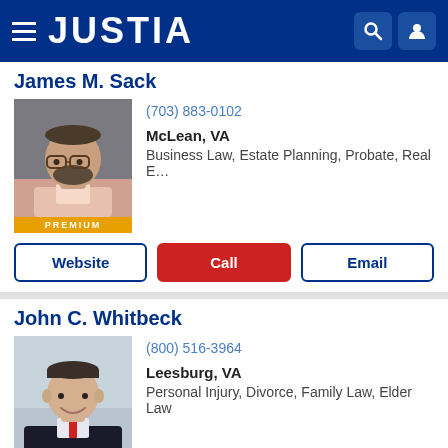JUSTIA
James M. Sack
(703) 883-0102
McLean, VA
Business Law, Estate Planning, Probate, Real E…
PREMIUM
Website | Call | Email
John C. Whitbeck
(800) 516-3964
Leesburg, VA
Personal Injury, Divorce, Family Law, Elder Law
PREMIUM
Website | Call | Email